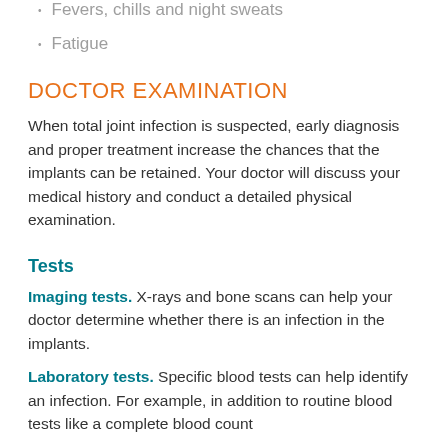Fevers, chills and night sweats
Fatigue
DOCTOR EXAMINATION
When total joint infection is suspected, early diagnosis and proper treatment increase the chances that the implants can be retained. Your doctor will discuss your medical history and conduct a detailed physical examination.
Tests
Imaging tests. X-rays and bone scans can help your doctor determine whether there is an infection in the implants.
Laboratory tests. Specific blood tests can help identify an infection. For example, in addition to routine blood tests like a complete blood count